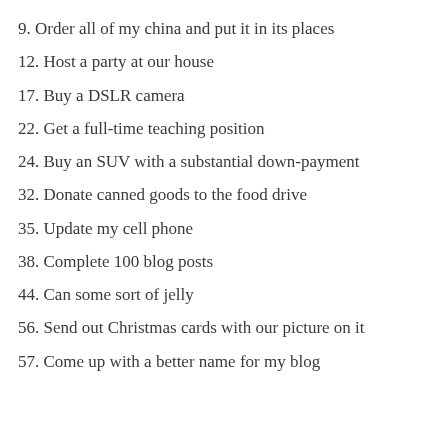9. Order all of my china and put it in its places
12. Host a party at our house
17. Buy a DSLR camera
22. Get a full-time teaching position
24. Buy an SUV with a substantial down-payment
32. Donate canned goods to the food drive
35. Update my cell phone
38. Complete 100 blog posts
44. Can some sort of jelly
56. Send out Christmas cards with our picture on it
57. Come up with a better name for my blog